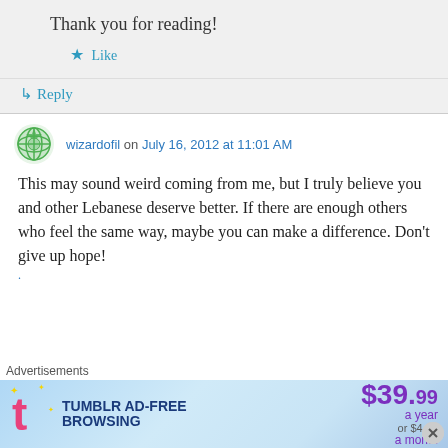Thank you for reading!
★ Like
↳ Reply
wizardofil on July 16, 2012 at 11:01 AM
This may sound weird coming from me, but I truly believe you and other Lebanese deserve better. If there are enough others who feel the same way, maybe you can make a difference. Don't give up hope!
Advertisements
[Figure (infographic): Tumblr Ad-Free Browsing advertisement banner: $39.99 a year or $4.99 a month]